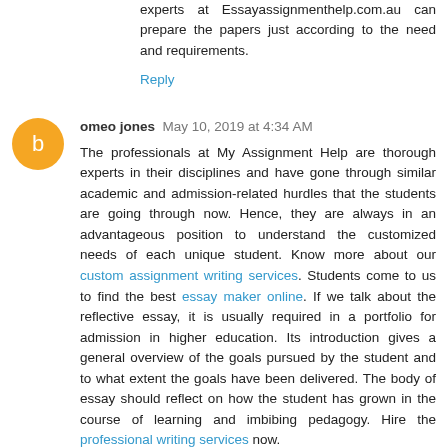experts at Essayassignmenthelp.com.au can prepare the papers just according to the need and requirements.
Reply
omeo jones  May 10, 2019 at 4:34 AM
The professionals at My Assignment Help are thorough experts in their disciplines and have gone through similar academic and admission-related hurdles that the students are going through now. Hence, they are always in an advantageous position to understand the customized needs of each unique student. Know more about our custom assignment writing services. Students come to us to find the best essay maker online. If we talk about the reflective essay, it is usually required in a portfolio for admission in higher education. Its introduction gives a general overview of the goals pursued by the student and to what extent the goals have been delivered. The body of essay should reflect on how the student has grown in the course of learning and imbibing pedagogy. Hire the professional writing services now.